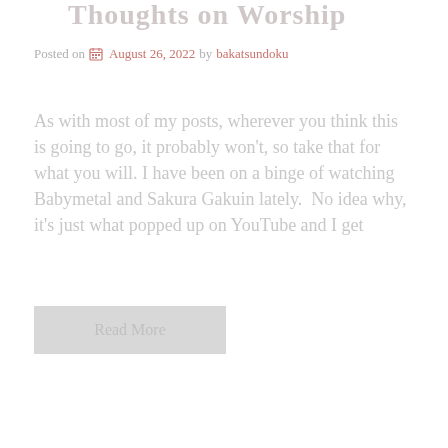Thoughts on Worship
Posted on  August 26, 2022 by bakatsundoku
As with most of my posts, wherever you think this is going to go, it probably won't, so take that for what you will. I have been on a binge of watching Babymetal and Sakura Gakuin lately.  No idea why, it's just what popped up on YouTube and I get
Read More